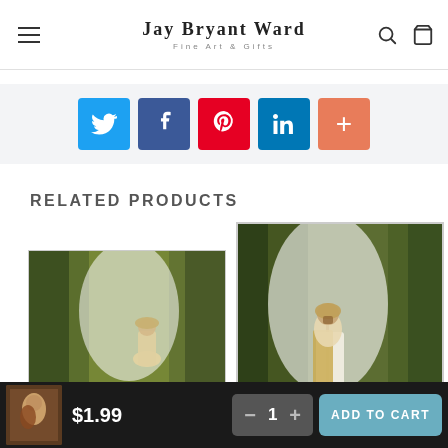Jay Bryant Ward Fine Art & Gifts
[Figure (screenshot): Social share buttons: Twitter (blue), Facebook (dark blue), Pinterest (red), LinkedIn (blue), More (orange-red)]
RELATED PRODUCTS
[Figure (photo): Religious painting showing Jesus in a forest path with bright light, partially cropped at bottom]
[Figure (photo): Religious painting showing Jesus in white robes with a staff, walking in a forest with bright light]
$1.99
1
ADD TO CART